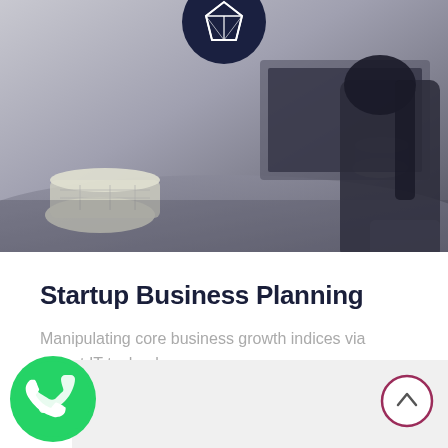[Figure (photo): Black and white photo of a woman sitting at a desk with rolled blueprints/architectural plans, looking at a monitor. A dark circle with a gem/diamond icon overlays the top center of the photo.]
Startup Business Planning
Manipulating core business growth indices via robust IT technology.
VIEW CASE STUDY —
[Figure (logo): WhatsApp green logo icon in bottom left corner]
[Figure (other): Circular scroll-up button with upward chevron, outlined in dark pink/maroon, in bottom right corner]